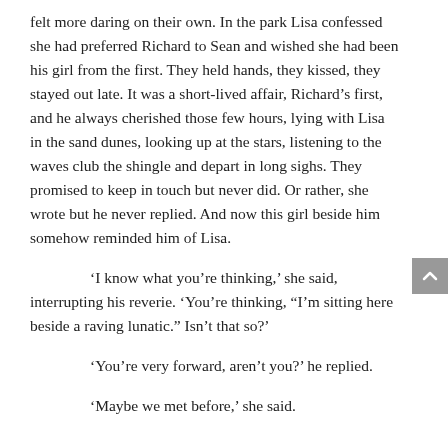felt more daring on their own. In the park Lisa confessed she had preferred Richard to Sean and wished she had been his girl from the first. They held hands, they kissed, they stayed out late. It was a short-lived affair, Richard's first, and he always cherished those few hours, lying with Lisa in the sand dunes, looking up at the stars, listening to the waves club the shingle and depart in long sighs. They promised to keep in touch but never did. Or rather, she wrote but he never replied. And now this girl beside him somehow reminded him of Lisa.
‘I know what you’re thinking,’ she said, interrupting his reverie. ‘You’re thinking, “I’m sitting here beside a raving lunatic.” Isn’t that so?’
‘You’re very forward, aren’t you?’ he replied.
‘Maybe we met before,’ she said.